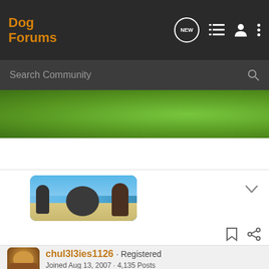Dog Forums
Search Community
[Figure (photo): Green grass background image, partial view]
[Figure (photo): Thumbnail image of dogs at a beach, people and dogs running]
chul3l3ies1126 · Registered
Joined Aug 13, 2007 · 4,135 Posts
Discussion Starter · #2 · Jun 22, 2009